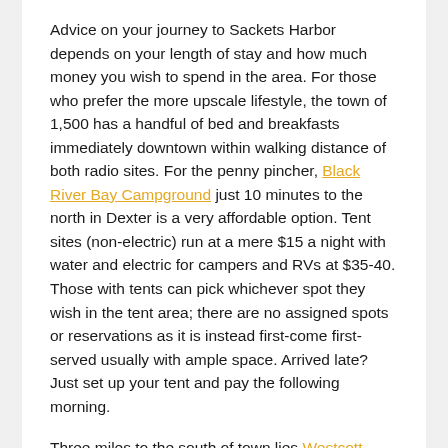Advice on your journey to Sackets Harbor depends on your length of stay and how much money you wish to spend in the area. For those who prefer the more upscale lifestyle, the town of 1,500 has a handful of bed and breakfasts immediately downtown within walking distance of both radio sites. For the penny pincher, Black River Bay Campground just 10 minutes to the north in Dexter is a very affordable option. Tent sites (non-electric) run at a mere $15 a night with water and electric for campers and RVs at $35-40. Those with tents can pick whichever spot they wish in the tent area; there are no assigned spots or reservations as it is instead first-come first-served usually with ample space. Arrived late? Just set up your tent and pay the following morning.
Three miles to the south of town lies Westcott Beach State Park. Day use varies between $5-8 depending on time of day and time of year. The park is home to a large campground with sites $23 and up, while across Route 3 is a park road that will take you to a plateau 250 feet above the lake with views across the lake to the north.